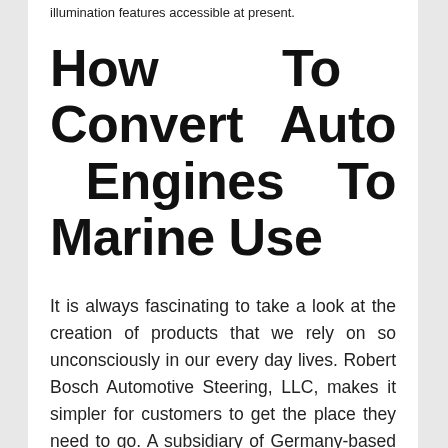illumination features accessible at present.
How To Convert Auto Engines To Marine Use
It is always fascinating to take a look at the creation of products that we rely on so unconsciously in our every day lives. Robert Bosch Automotive Steering, LLC, makes it simpler for customers to get the place they need to go. A subsidiary of Germany-based Robert Bosch GmbH, the corporate assembles electric power steering methods,